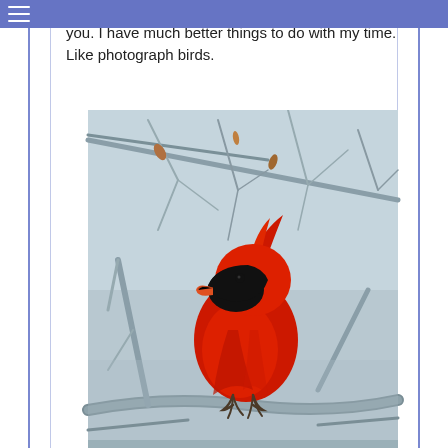you. I have much better things to do with my time. Like photograph birds.
[Figure (photo): A bright red male Northern Cardinal perched on a bare winter branch. The bird faces left, showing its distinctive red crest, black mask, and orange-red beak. The background shows bare grey-blue branches and a light grey-blue sky.]